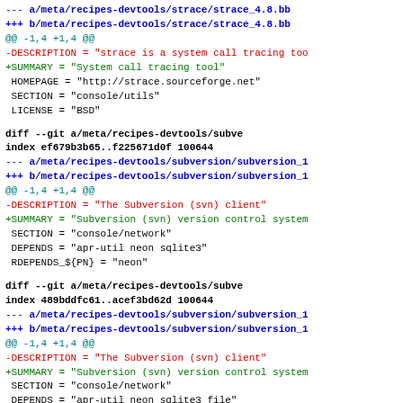--- a/meta/recipes-devtools/strace/strace_4.8.bb
+++ b/meta/recipes-devtools/strace/strace_4.8.bb
@@ -1,4 +1,4 @@
-DESCRIPTION = "strace is a system call tracing too
+SUMMARY = "System call tracing tool"
 HOMEPAGE = "http://strace.sourceforge.net"
 SECTION = "console/utils"
 LICENSE = "BSD"
diff --git a/meta/recipes-devtools/subve
index ef679b3b65..f225671d0f 100644
--- a/meta/recipes-devtools/subversion/subversion_1
+++ b/meta/recipes-devtools/subversion/subversion_1
@@ -1,4 +1,4 @@
-DESCRIPTION = "The Subversion (svn) client"
+SUMMARY = "Subversion (svn) version control system
 SECTION = "console/network"
 DEPENDS = "apr-util neon sqlite3"
 RDEPENDS_${PN} = "neon"
diff --git a/meta/recipes-devtools/subve
index 489bddfc61..acef3bd62d 100644
--- a/meta/recipes-devtools/subversion/subversion_1
+++ b/meta/recipes-devtools/subversion/subversion_1
@@ -1,4 +1,4 @@
-DESCRIPTION = "The Subversion (svn) client"
+SUMMARY = "Subversion (svn) version control system
 SECTION = "console/network"
 DEPENDS = "apr-util neon sqlite3 file"
 RDEPENDS_${PN} = "neon"